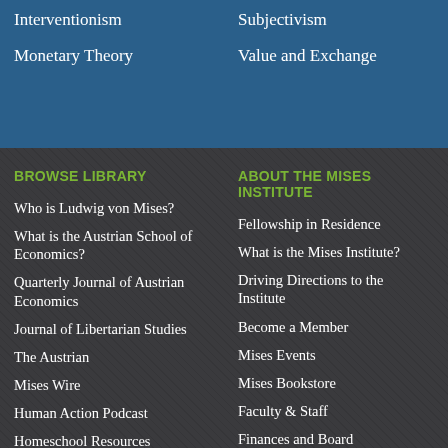Interventionism
Monetary Theory
Subjectivism
Value and Exchange
BROWSE LIBRARY
Who is Ludwig von Mises?
What is the Austrian School of Economics?
Quarterly Journal of Austrian Economics
Journal of Libertarian Studies
The Austrian
Mises Wire
Human Action Podcast
Homeschool Resources
ABOUT THE MISES INSTITUTE
Fellowship in Residence
What is the Mises Institute?
Driving Directions to the Institute
Become a Member
Mises Events
Mises Bookstore
Faculty & Staff
Finances and Board
Subscribe to Email Lists
Support Mises
Privacy Statement
Contact Us